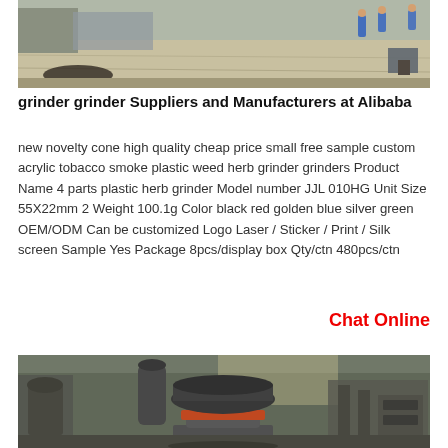[Figure (photo): Industrial/warehouse floor with workers in blue uniforms visible in background, large open space]
grinder grinder Suppliers and Manufacturers at Alibaba
new novelty cone high quality cheap price small free sample custom acrylic tobacco smoke plastic weed herb grinder grinders Product Name 4 parts plastic herb grinder Model number JJL 010HG Unit Size 55X22mm 2 Weight 100.1g Color black red golden blue silver green OEM/ODM Can be customized Logo Laser / Sticker / Print / Silk screen Sample Yes Package 8pcs/display box Qty/ctn 480pcs/ctn
Chat Online
[Figure (photo): Industrial grinding machine in a factory setting, large cone-shaped grinding mill with orange band, surrounded by machinery and equipment]